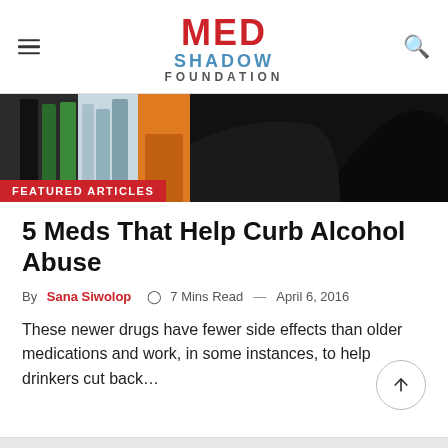MED SHADOW FOUNDATION
[Figure (photo): Hero image showing colored bottles/liquids and a silhouette of a person, with a red 'FEATURED ARTICLES' badge overlay]
5 Meds That Help Curb Alcohol Abuse
By Sana Siwolop   7 Mins Read — April 6, 2016
These newer drugs have fewer side effects than older medications and work, in some instances, to help drinkers cut back...